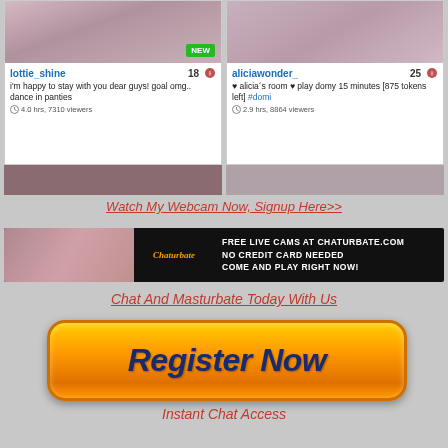[Figure (screenshot): Webcam grid showing two cam girls: lottie_shine (18, 4.0 hrs 7310 viewers) and aliciawonder_ (25, 2.9 hrs 8864 viewers), with NEW badge on first card]
Watch My Webcam Now, Signup Here>>
[Figure (photo): Chaturbate banner ad: Free Live Cams at Chaturbate.com, No Credit Card Needed, Come And Play Right Now!]
Chat And Masturbate Today With Us
[Figure (other): Orange Register Now button]
Instant Chat Access